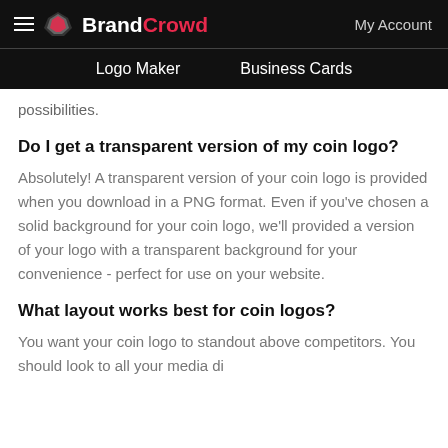BrandCrowd — Logo Maker | Business Cards | My Account
possibilities.
Do I get a transparent version of my coin logo?
Absolutely! A transparent version of your coin logo is provided when you download in a PNG format. Even if you've chosen a solid background for your coin logo, we'll provided a version of your logo with a transparent background for your convenience - perfect for use on your website.
What layout works best for coin logos?
You want your coin logo to standout above competitors. You should look to all your media di...